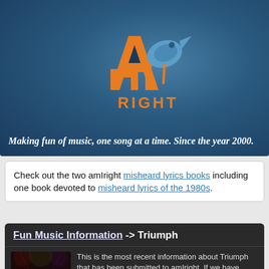[Figure (logo): AmIRight logo with orange stylized letters 'ami' and a blue bird/pen figure, with 'RIGHT' in orange below]
Making fun of music, one song at a time. Since the year 2000.
Check out the two amIright misheard lyrics books including one book devoted to misheard lyrics of the 1980s.
Fun Music Information -> Triumph
[Figure (photo): Concert photo showing 'TRUMP' text in red neon/lights on a dark stage background]
This is the most recent information about Triumph that has been submitted to amIright. If we have